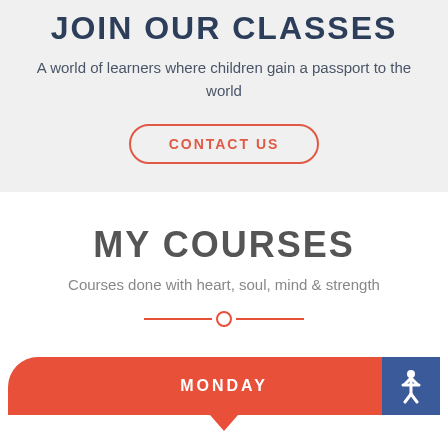JOIN OUR CLASSES
A world of learners where children gain a passport to the world
CONTACT US
MY COURSES
Courses done with heart, soul, mind & strength
MONDAY